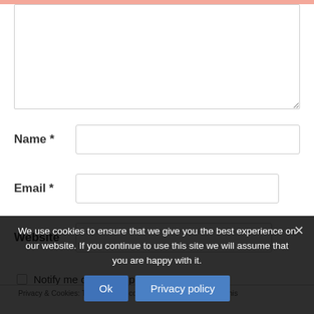[Figure (screenshot): Textarea input field for comment]
Name *
Email *
Website
Notify me of follow-up comments by email
Privacy & Cookies: This site uses cookies. By continuing to use this
We use cookies to ensure that we give you the best experience on our website. If you continue to use this site we will assume that you are happy with it.
Ok
Privacy policy